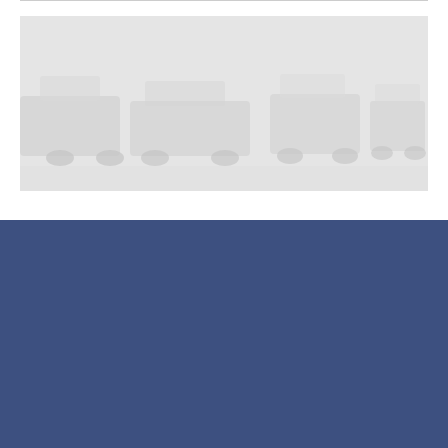[Figure (photo): Faded/greyed out photograph showing cars or limousines, used as a decorative banner image]
E-MAIL    IMPRESSUM
AGB / GENERAL TERMS CONDITIONS
CHAUFFEUR, VIP DRIVER AND LIMOUSINE SERVICE. AIRPORT TRANSFER AND TAXI SHUTTLE, DRIVING SERVICE SWITZERLAND EUROPE
(C) A1 CHAUFFEUR SERVICE, HOFACKERSTRASSE 37, CH-8953 DIETIKON-ZURICH, SWITZERLAND